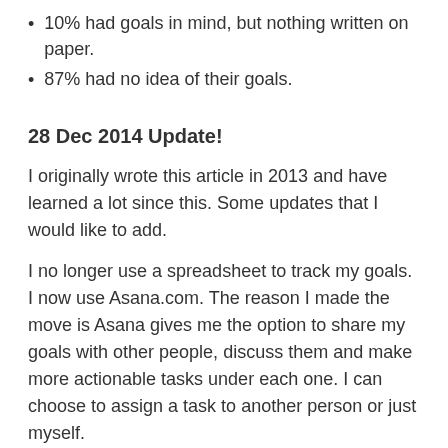10% had goals in mind, but nothing written on paper.
87% had no idea of their goals.
28 Dec 2014 Update!
I originally wrote this article in 2013 and have learned a lot since this. Some updates that I would like to add.
I no longer use a spreadsheet to track my goals. I now use Asana.com. The reason I made the move is Asana gives me the option to share my goals with other people, discuss them and make more actionable tasks under each one. I can choose to assign a task to another person or just myself.
I spend even more time reviewing and updating my goals that ever before. It's a bit of a cliche but I have found the more planning, preparation and reviewing I have put into my goals the bigger return I get. To make